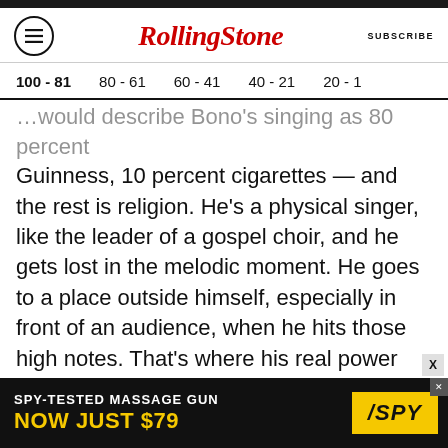RollingStone  SUBSCRIBE
100 - 81  80 - 61  60 - 41  40 - 21  20 - 1
Guinness, 10 percent cigarettes — and the rest is religion. He's a physical singer, like the leader of a gospel choir, and he gets lost in the melodic moment. He goes to a place outside himself, especially in front of an audience, when he hits those high notes. That's where his real power comes from — the pure, unadulterated Bono. He talks about things he believes in, whether it's world economics or AIDS relief in Africa. But the voice always comes first. That's where his
[Figure (other): Advertisement banner: SPY-TESTED MASSAGE GUN NOW JUST $79 with SPY logo]